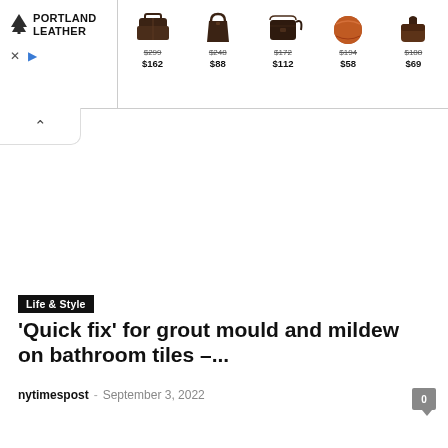[Figure (screenshot): Portland Leather advertisement banner showing logo on left and 5 leather bag products with crossed-out original prices and sale prices: $299->$162, $248->$88, $172->$112, $194->$58, $188->$69]
Life & Style
'Quick fix' for grout mould and mildew on bathroom tiles –...
nytimespost - September 3, 2022